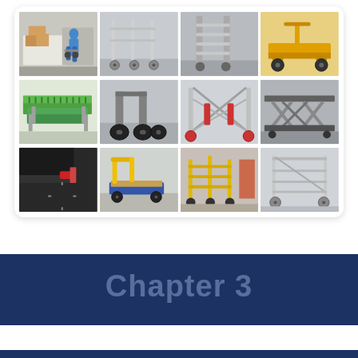[Figure (photo): A 4x3 collage of 12 photos showing various caster and cart applications: a person unloading boxes from a truck with a dolly, caster wheels close-up on metal frames, a rolling staircase/ladder, a yellow pallet jack, green conveyor tables, equipment with large black rubber casters, metal rolling shelving/racks, a scissor lift table, a close-up of a large black caster wheel with red brake, a yellow platform cart with blue deck, metal security barriers on casters, and a metal frame cart with casters.]
Chapter 3
Components of Caster